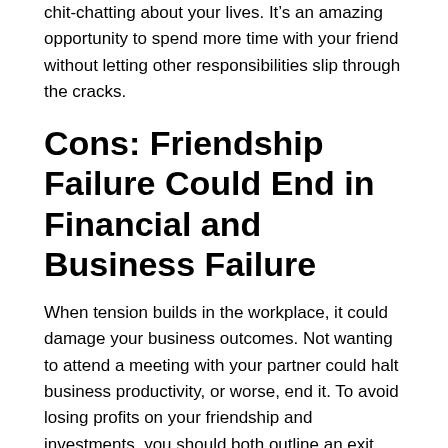chit-chatting about your lives. It's an amazing opportunity to spend more time with your friend without letting other responsibilities slip through the cracks.
Cons: Friendship Failure Could End in Financial and Business Failure
When tension builds in the workplace, it could damage your business outcomes. Not wanting to attend a meeting with your partner could halt business productivity, or worse, end it. To avoid losing profits on your friendship and investments, you should both outline an exit plan if things go wrong.
Tips for Starting a Business With Your